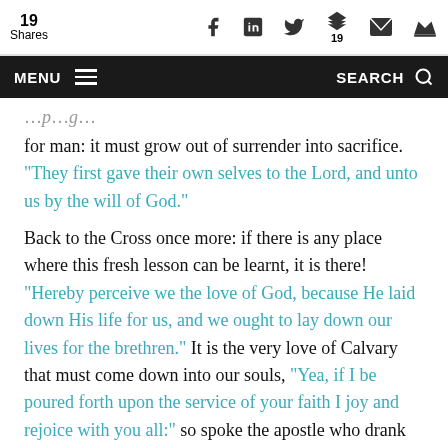19 Shares | Social sharing bar with Facebook, LinkedIn, Twitter, Buffer (19), Email, Crown icons
MENU [hamburger] ... SEARCH [magnifier]
for man: it must grow out of surrender into sacrifice. “They first gave their own selves to the Lord, and unto us by the will of God.”

Back to the Cross once more: if there is any place where this fresh lesson can be learnt, it is there! “Hereby perceive we the love of God, because He laid down His life for us, and we ought to lay down our lives for the brethren.” It is the very love of Calvary that must come down into our souls, “Yea, if I be poured forth upon the service of your faith I joy and rejoice with you all:” so spoke the apostle who drank most deeply into the Master’s spirit: and again—“Death